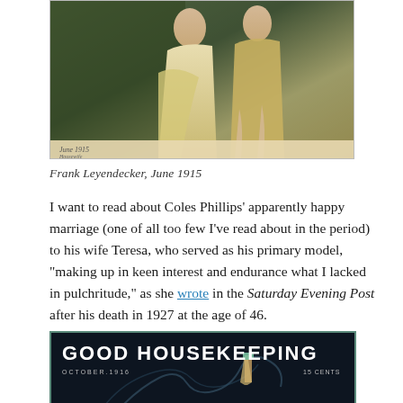[Figure (illustration): Vintage magazine cover illustration showing two figures in classical/draped clothing against a dark background, partially cropped at top. Handwritten text at bottom reads 'June 1915' and an artist signature.]
Frank Leyendecker, June 1915
I want to read about Coles Phillips' apparently happy marriage (one of all too few I've read about in the period) to his wife Teresa, who served as his primary model, "making up in keen interest and endurance what I lacked in pulchritude," as she wrote in the Saturday Evening Post after his death in 1927 at the age of 46.
[Figure (illustration): Good Housekeeping magazine cover, October 1916, 15 cents. Dark background with swirling decorative elements and a hand holding what appears to be a torch or implement.]